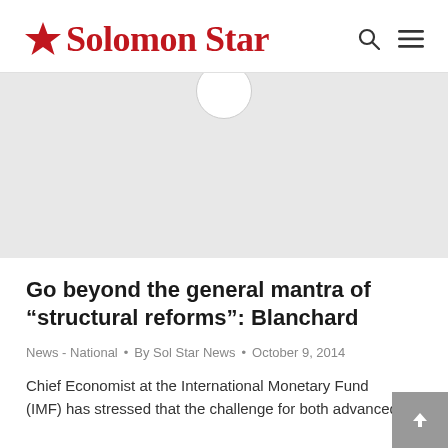Solomon Star
[Figure (photo): Gray placeholder image area with a white circle partially visible at the top center]
Go beyond the general mantra of “structural reforms”: Blanchard
News - National • By Sol Star News • October 9, 2014
Chief Economist at the International Monetary Fund (IMF) has stressed that the challenge for both advanced